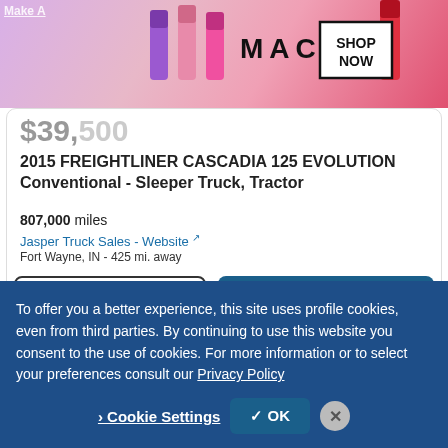[Figure (screenshot): MAC cosmetics advertisement banner showing lipsticks with SHOP NOW button]
$39,500
2015 FREIGHTLINER CASCADIA 125 EVOLUTION Conventional - Sleeper Truck, Tractor
807,000 miles
Jasper Truck Sales - Website [external link icon]
Fort Wayne, IN - 425 mi. away
Email button
Call button
Video chat with this dealer
To offer you a better experience, this site uses profile cookies, even from third parties. By continuing to use this website you consent to the use of cookies. For more information or to select your preferences consult our Privacy Policy
Cookie Settings
OK